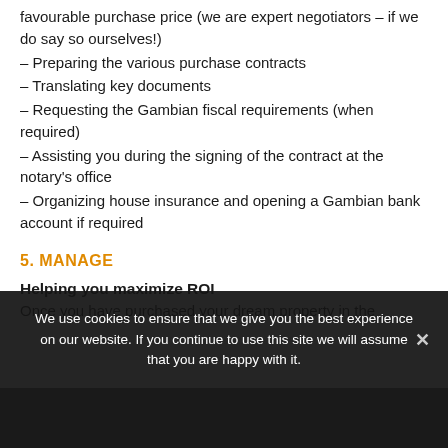favourable purchase price (we are expert negotiators – if we do say so ourselves!)
– Preparing the various purchase contracts
– Translating key documents
– Requesting the Gambian fiscal requirements (when required)
– Assisting you during the signing of the contract at the notary's office
– Organizing house insurance and opening a Gambian bank account if required
5. MANAGE
Helping you maximize ROI
Once you have purchased your dream property in the
We use cookies to ensure that we give you the best experience on our website. If you continue to use this site we will assume that you are happy with it.